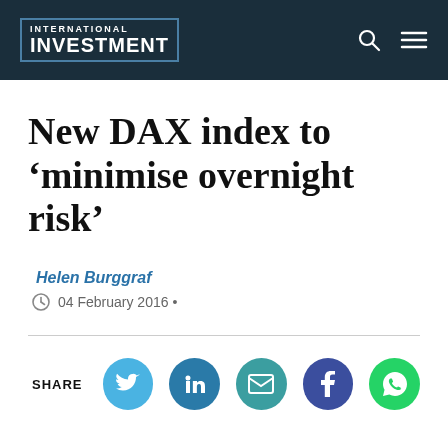INTERNATIONAL INVESTMENT
New DAX index to 'minimise overnight risk'
Helen Burggraf
04 February 2016 •
[Figure (infographic): Social share buttons: Twitter, LinkedIn, Email, Facebook, WhatsApp]